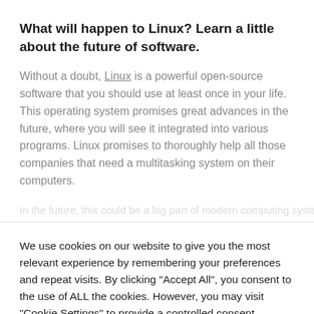What will happen to Linux? Learn a little about the future of software.
Without a doubt, Linux is a powerful open-source software that you should use at least once in your life. This operating system promises great advances in the future, where you will see it integrated into various programs. Linux promises to thoroughly help all those companies that need a multitasking system on their computers.
We use cookies on our website to give you the most relevant experience by remembering your preferences and repeat visits. By clicking "Accept All", you consent to the use of ALL the cookies. However, you may visit "Cookie Settings" to provide a controlled consent.